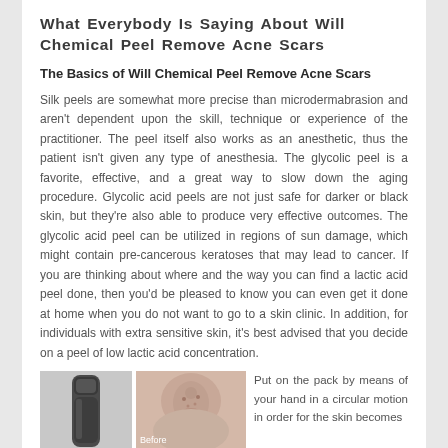What Everybody Is Saying About Will Chemical Peel Remove Acne Scars
The Basics of Will Chemical Peel Remove Acne Scars
Silk peels are somewhat more precise than microdermabrasion and aren't dependent upon the skill, technique or experience of the practitioner. The peel itself also works as an anesthetic, thus the patient isn't given any type of anesthesia. The glycolic peel is a favorite, effective, and a great way to slow down the aging procedure. Glycolic acid peels are not just safe for darker or black skin, but they're also able to produce very effective outcomes. The glycolic acid peel can be utilized in regions of sun damage, which might contain pre-cancerous keratoses that may lead to cancer. If you are thinking about where and the way you can find a lactic acid peel done, then you'd be pleased to know you can even get it done at home when you do not want to go to a skin clinic. In addition, for individuals with extra sensitive skin, it's best advised that you decide on a peel of low lactic acid concentration.
[Figure (photo): Photo of a dark cylindrical skincare product (stick or applicator)]
[Figure (photo): Close-up photo of skin (nose area) labeled 'Before']
Put on the pack by means of your hand in a circular motion in order for the skin becomes